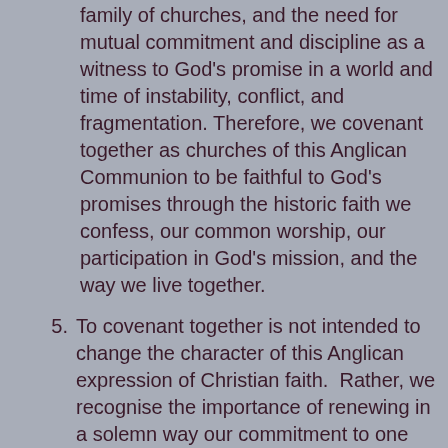family of churches, and the need for mutual commitment and discipline as a witness to God's promise in a world and time of instability, conflict, and fragmentation. Therefore, we covenant together as churches of this Anglican Communion to be faithful to God's promises through the historic faith we confess, our common worship, our participation in God's mission, and the way we live together.
5. To covenant together is not intended to change the character of this Anglican expression of Christian faith. Rather, we recognise the importance of renewing in a solemn way our commitment to one another, and to the common understanding of faith and order we have received, so that the bonds of affection which hold us together may be re-affirmed and intensified. We do this in order to reflect, in our relations with one another, God's own faithfulness and promises towards us in Christ (2 Cor. 1.20-22).